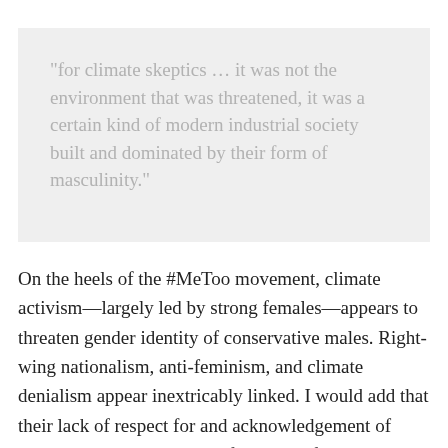“for climate skeptics … it was not the environment that was threatened, it was a certain kind of modern industrial society built and dominated by their form of masculinity.”
On the heels of the #MeToo movement, climate activism—largely led by strong females—appears to threaten gender identity of conservative males. Right-wing nationalism, anti-feminism, and climate denialism appear inextricably linked. I would add that their lack of respect for and acknowledgement of indigenous peoples is by default part of the package, given that indigenous peoples are so tied to the land and the ecosystem (being destroyed). One need only look to what is currently